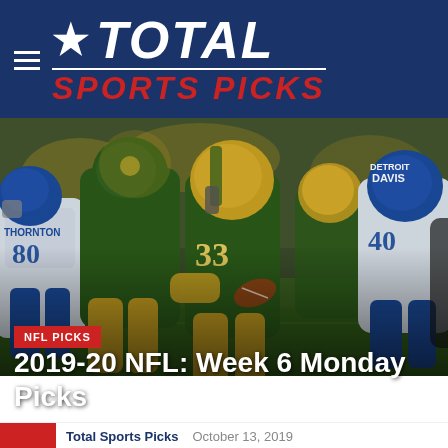Total Sports Picks
[Figure (photo): NFL football game action photo: Green Bay Packers running back #33 in green and gold uniform carries the ball, surrounded by Detroit Lions defenders in white and blue uniforms including #80 Thornton and #40 Davis, with a crowd in the background.]
NFL PICKS
2019-20 NFL: Week 6 Monday Picks
Total Sports Picks   October 13, 2019